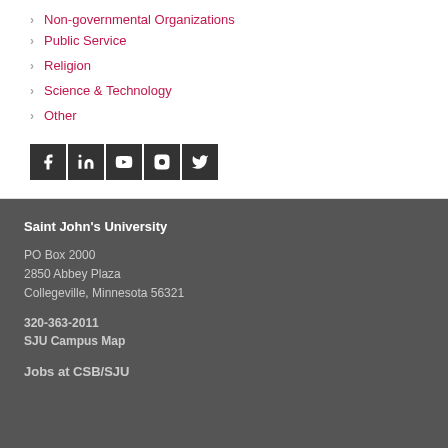Non-governmental Organizations
Public Service
Religion
Science & Technology
Other
[Figure (illustration): Social media icons: Facebook, LinkedIn, YouTube, Instagram, Twitter]
Saint John's University
PO Box 2000
2850 Abbey Plaza
Collegeville, Minnesota 56321
320-363-2011
SJU Campus Map
Jobs at CSB/SJU